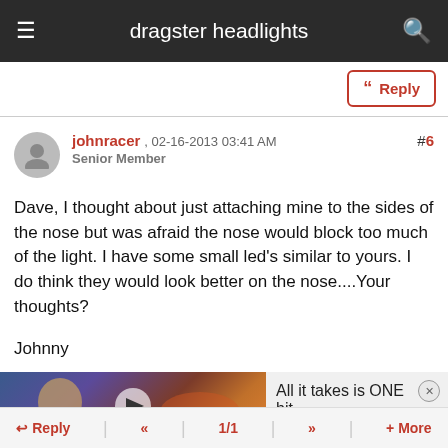dragster headlights
Reply
johnracer , 02-16-2013 03:41 AM
Senior Member
#6
Dave, I thought about just attaching mine to the sides of the nose but was afraid the nose would block too much of the light. I have some small led's similar to yours. I do think they would look better on the nose....Your thoughts?

Johnny
[Figure (screenshot): Video thumbnail with animated character and play button overlay]
All it takes is ONE hit.
Reply   «   1/1   »   + More